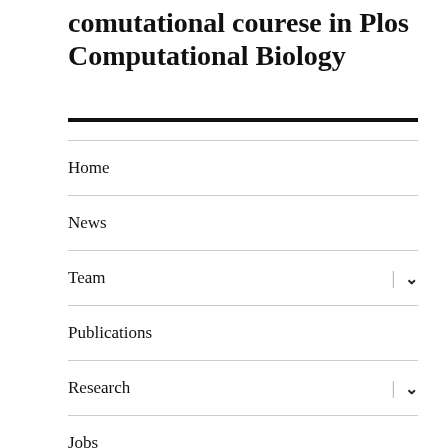comutational courese in Plos Computational Biology
Home
News
Team
Publications
Research
Jobs